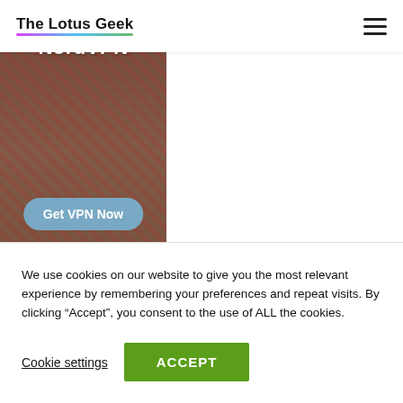The Lotus Geek
[Figure (screenshot): NordVPN advertisement banner showing a person holding a phone with plaid shirt background, with text 'NordVPN' and a 'Get VPN Now' button]
We use cookies on our website to give you the most relevant experience by remembering your preferences and repeat visits. By clicking “Accept”, you consent to the use of ALL the cookies.
Cookie settings
ACCEPT